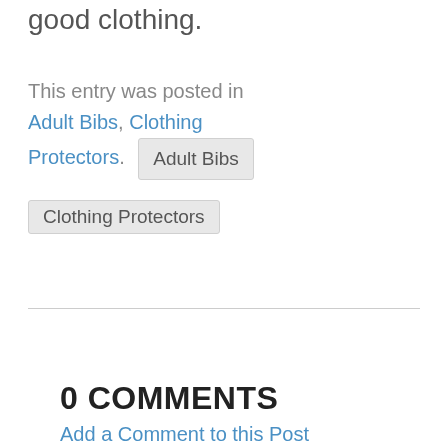good clothing.
This entry was posted in Adult Bibs, Clothing Protectors.
Adult Bibs
Clothing Protectors
0 COMMENTS
Add a Comment to this Post